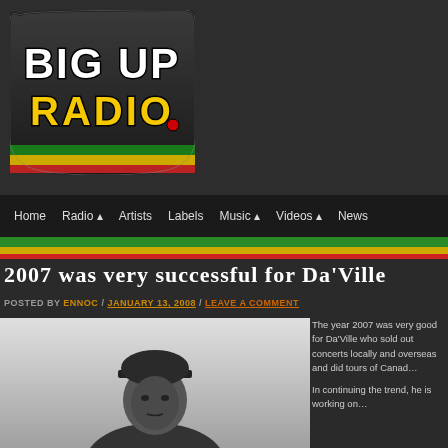[Figure (logo): Big Up Radio logo — bold graffiti-style text 'BIG UP RADIO' in white/yellow with black outline on a dark shield shape, with Rastafarian flag colors (red, gold, green) stripe at the base]
Home / Radio ▲ / Artists / Labels / Music ▲ / Videos ▲ / News
2007 was very successful for Da'Ville
POSTED BY ENNOC / JANUARY 13, 2008 / LEAVE A COMMENT
[Figure (photo): Black and white photo of Da'Ville, a male reggae artist wearing a dark flat-brim cap, looking at camera with a serious expression]
The year 2007 was very good for Da'Ville who sold out concerts locally and overseas and did tours of Canada

In continuing the trend, he is working on